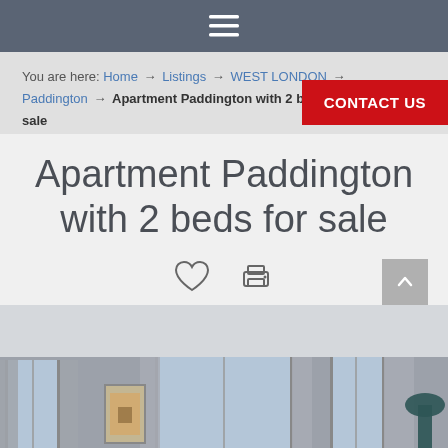☰ (hamburger menu)
You are here: Home → Listings → WEST LONDON → Paddington → Apartment Paddington with 2 beds for sale | CONTACT US
Apartment Paddington with 2 beds for sale
[Figure (photo): Interior photo of a modern apartment room with large floor-to-ceiling windows, grey curtains, and a framed artwork on the wall. A lamp is visible in the bottom right.]